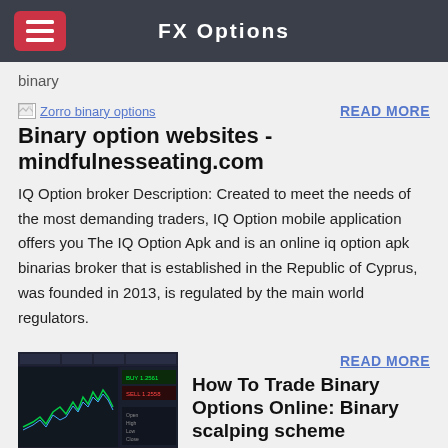FX Options
binary
[Figure (illustration): Broken image placeholder for Zorro binary options]
Binary option websites - mindfulnesseating.com
IQ Option broker Description: Created to meet the needs of the most demanding traders, IQ Option mobile application offers you The IQ Option Apk and is an online iq option apk binarias broker that is established in the Republic of Cyprus, was founded in 2013, is regulated by the main world regulators.
[Figure (screenshot): Screenshot of a binary options trading platform showing candlestick/line charts with green trading lines]
How To Trade Binary Options Online: Binary scalping scheme